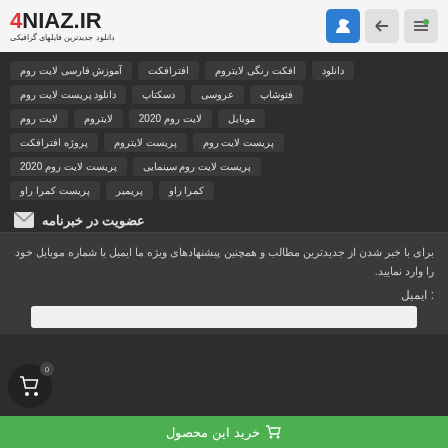4NIAZ.IR — دانلود جدیدترین فایلهای گرافیکی
آموزش فارسی لایت روم
افترافکت
افکت رنگی لایتروم
دانلود
دانلود پریست لایت روم
دسکتاپ
عروسی
فتوشاپ
لایت روم
لایتروم
لایت روم 2020
موبایل
پروژه افترافکت
پریست لایتروم
پریست لایت روم
پریست لایت روم 2020
پریست لایت روم سینمایی
پریست کمرا راو
پریمیر
کمرا راو
عضویت در خبرنامه
برای با خبر شدن از جدیدترین مطالب و همچنین پیشنهادهای ویژه ما ایمیل یا شماره موبایل خود را وارد نمایید.
ایمیل :
خرید این محصول